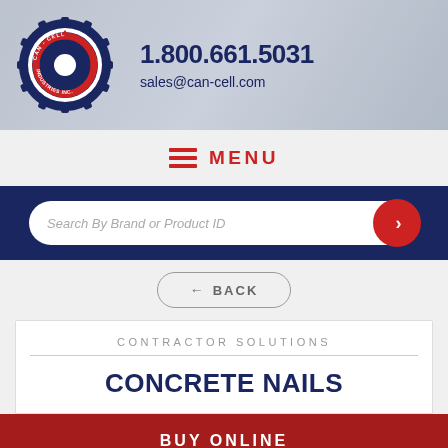1.800.661.5031 | sales@can-cell.com
MENU
Search By Brand or Product ID
← BACK
CONTRACTOR SOLUTIONS
CONCRETE NAILS
BUY ONLINE